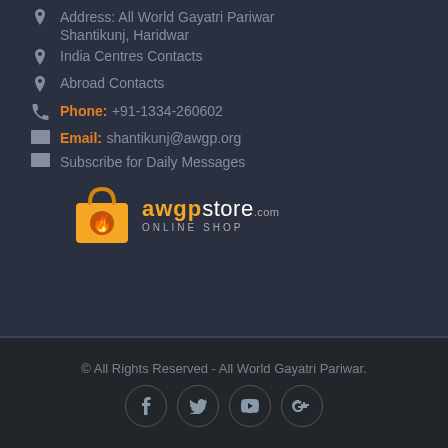Address: All World Gayatri Pariwar Shantikunj, Haridwar
India Centres Contacts
Abroad Contacts
Phone: +91-1334-260602
Email: shantikunj@awgp.org
Subscribe for Daily Messages
[Figure (logo): awgpstore.com ONLINE SHOP logo with orange shopping bag icon]
© All Rights Reserved - All World Gayatri Pariwar.
[Figure (infographic): Social media icon buttons: Facebook, Twitter, YouTube, Google+]